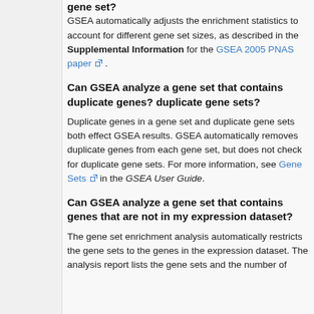gene set?
GSEA automatically adjusts the enrichment statistics to account for different gene set sizes, as described in the Supplemental Information for the GSEA 2005 PNAS paper.
Can GSEA analyze a gene set that contains duplicate genes? duplicate gene sets?
Duplicate genes in a gene set and duplicate gene sets both effect GSEA results. GSEA automatically removes duplicate genes from each gene set, but does not check for duplicate gene sets. For more information, see Gene Sets in the GSEA User Guide.
Can GSEA analyze a gene set that contains genes that are not in my expression dataset?
The gene set enrichment analysis automatically restricts the gene sets to the genes in the expression dataset. The analysis report lists the gene sets and the number of